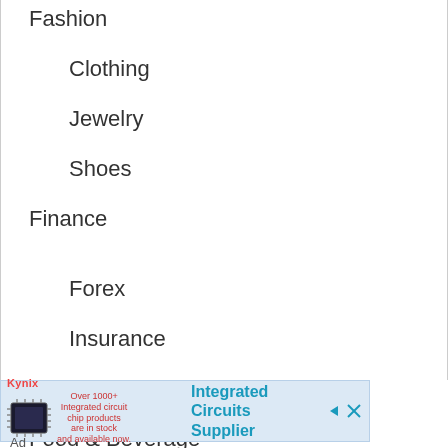Fashion
Clothing
Jewelry
Shoes
Finance
Forex
Insurance
Real Estate
Food & Beverage
Cooking
[Figure (other): Advertisement banner for Kynix - Integrated Circuits Supplier, showing a microchip image with text 'Over 1000+ Integrated circuit chip products are in stock and available now.']
Ad